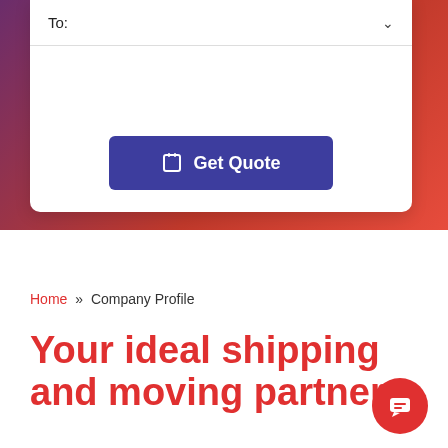[Figure (screenshot): Hero section with gradient background (purple to red) containing a white form card with 'To:' dropdown field and 'Get Quote' button]
To:
Get Quote
Home » Company Profile
Your ideal shipping and moving partner